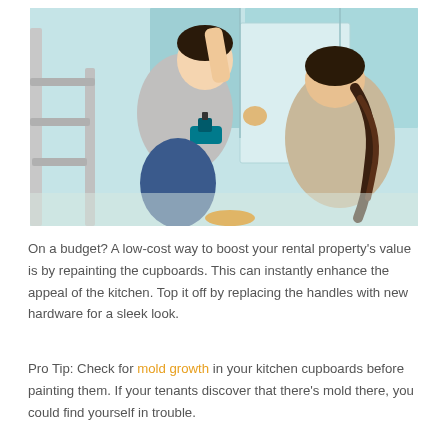[Figure (photo): A man on a ladder using a power drill to install a cabinet door while a woman assists by holding the light blue cabinet door in place. Kitchen renovation scene with teal/light blue cabinets in the background.]
On a budget? A low-cost way to boost your rental property's value is by repainting the cupboards. This can instantly enhance the appeal of the kitchen. Top it off by replacing the handles with new hardware for a sleek look.
Pro Tip: Check for mold growth in your kitchen cupboards before painting them. If your tenants discover that there's mold there, you could find yourself in trouble.